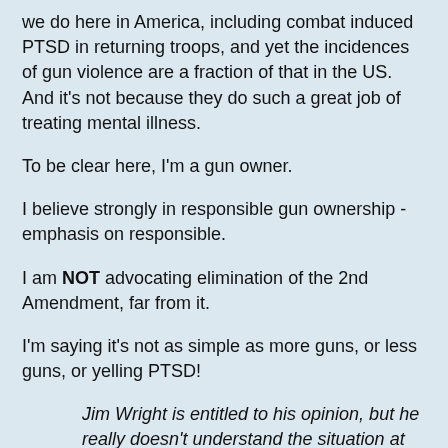we do here in America, including combat induced PTSD in returning troops, and yet the incidences of gun violence are a fraction of that in the US. And it’s not because they do such a great job of treating mental illness.
To be clear here, I’m a gun owner.
I believe strongly in responsible gun ownership - emphasis on responsible.
I am NOT advocating elimination of the 2nd Amendment, far from it.
I’m saying it’s not as simple as more guns, or less guns, or yelling PTSD!
Jim Wright is entitled to his opinion, but he really doesn’t understand the situation at all.
and finally:
Where did you find this idiot?
Jim Wright doesn’t understand the situation at all. Where did